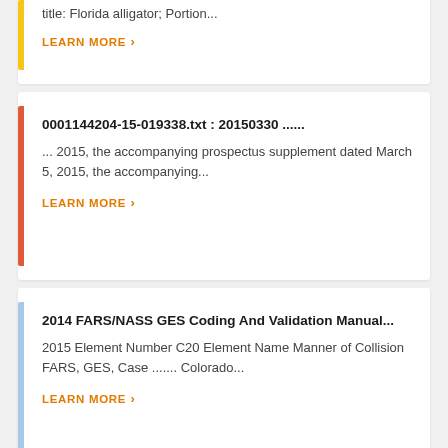title: Florida alligator; Portion...
LEARN MORE ›
0001144204-15-019338.txt : 20150330 ......
... 2015, the accompanying prospectus supplement dated March 5, 2015, the accompanying...
LEARN MORE ›
2014 FARS/NASS GES Coding And Validation Manual...
2015 Element Number C20 Element Name Manner of Collision FARS, GES, Case ....... Colorado...
LEARN MORE ›